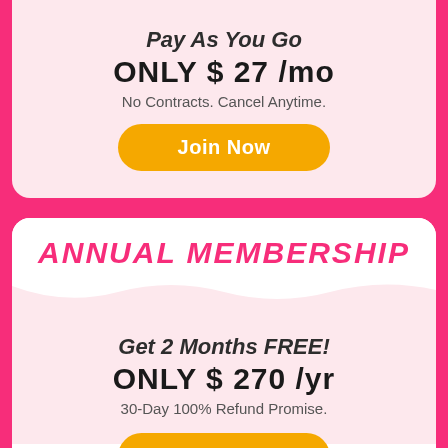Pay As You Go
ONLY $ 27 /mo
No Contracts. Cancel Anytime.
Join Now
ANNUAL MEMBERSHIP
Get 2 Months FREE!
ONLY $ 270 /yr
30-Day 100% Refund Promise.
Join Now